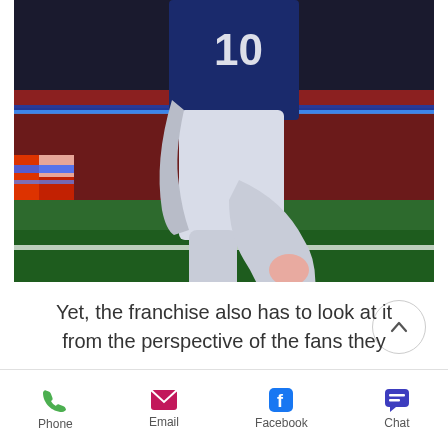[Figure (photo): NFL football player wearing jersey number 10 running on a green field, with blue and red LED stadium lighting in the background. Only the torso down to feet is visible.]
Yet, the franchise also has to look at it from the perspective of the fans they
Phone | Email | Facebook | Chat